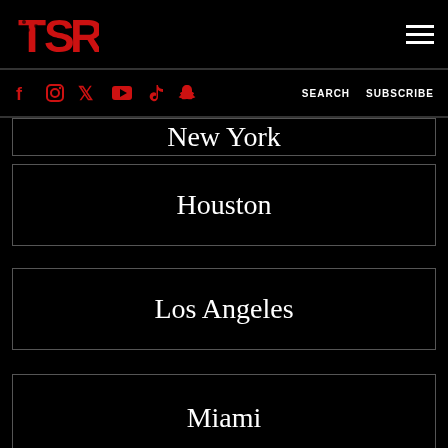TSR logo and hamburger menu
Social icons: f, Instagram, Twitter, YouTube, TikTok, Snapchat | SEARCH | SUBSCRIBE
New York
Houston
Los Angeles
Miami
Atlanta